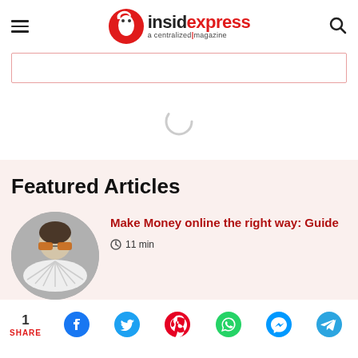insidexpress a centralized magazine
[Figure (other): Advertisement placeholder with pink border]
[Figure (other): Loading spinner circle icon]
Featured Articles
[Figure (photo): Circular thumbnail photo of person wearing sunglasses holding fan of cards]
Make Money online the right way: Guide
11 min
1 SHARE